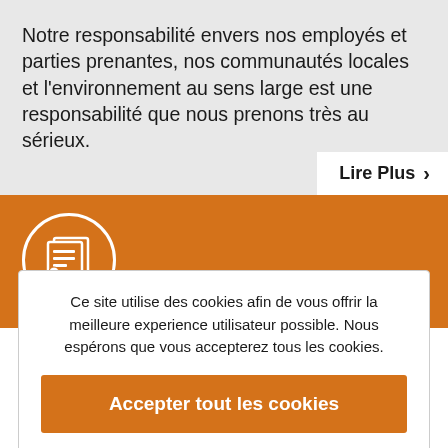Notre responsabilité envers nos employés et parties prenantes, nos communautés locales et l'environnement au sens large est une responsabilité que nous prenons très au sérieux.
Lire Plus >
[Figure (illustration): Orange background section with white circle icon containing document/newspaper illustration]
Ce site utilise des cookies afin de vous offrir la meilleure experience utilisateur possible. Nous espérons que vous accepterez tous les cookies.
Accepter tout les cookies
Modifier vos paramètres   Décliner